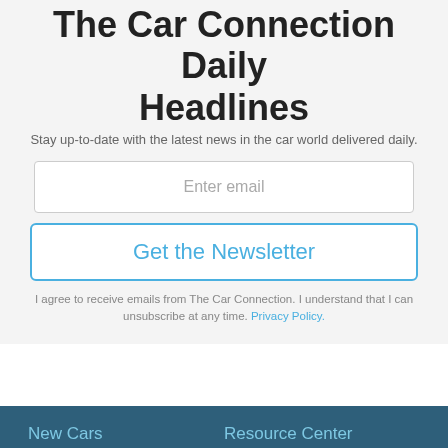The Car Connection Daily Headlines
Stay up-to-date with the latest news in the car world delivered daily.
Enter email
Get the Newsletter
I agree to receive emails from The Car Connection. I understand that I can unsubscribe at any time. Privacy Policy.
New Cars
Compare cars
Resource Center
About Us
[Figure (other): Red READ MORE button with white bold text, oval/pill shaped, with 'on Newz Online' label beneath]
Ad